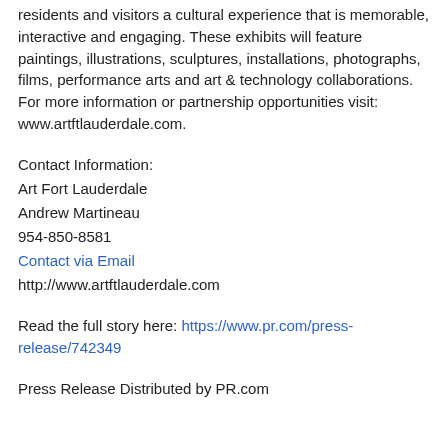residents and visitors a cultural experience that is memorable, interactive and engaging. These exhibits will feature paintings, illustrations, sculptures, installations, photographs, films, performance arts and art & technology collaborations. For more information or partnership opportunities visit: www.artftlauderdale.com.
Contact Information:
Art Fort Lauderdale
Andrew Martineau
954-850-8581
Contact via Email
http://www.artftlauderdale.com
Read the full story here: https://www.pr.com/press-release/742349
Press Release Distributed by PR.com